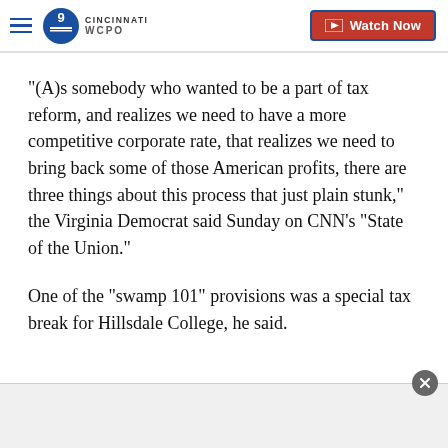WCPO 9 Cincinnati — Watch Now
"(A)s somebody who wanted to be a part of tax reform, and realizes we need to have a more competitive corporate rate, that realizes we need to bring back some of those American profits, there are three things about this process that just plain stunk," the Virginia Democrat said Sunday on CNN's "State of the Union."
One of the "swamp 101" provisions was a special tax break for Hillsdale College, he said.